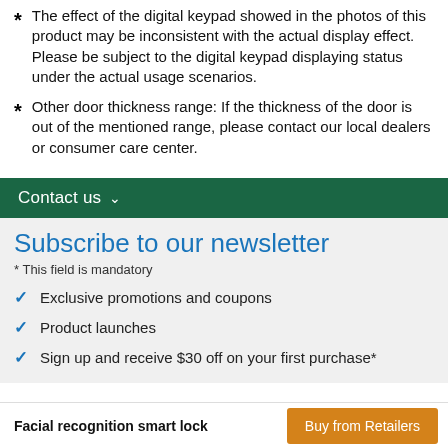The effect of the digital keypad showed in the photos of this product may be inconsistent with the actual display effect. Please be subject to the digital keypad displaying status under the actual usage scenarios.
Other door thickness range: If the thickness of the door is out of the mentioned range, please contact our local dealers or consumer care center.
Contact us
Subscribe to our newsletter
* This field is mandatory
Exclusive promotions and coupons
Product launches
Sign up and receive $30 off on your first purchase*
Facial recognition smart lock | Buy from Retailers